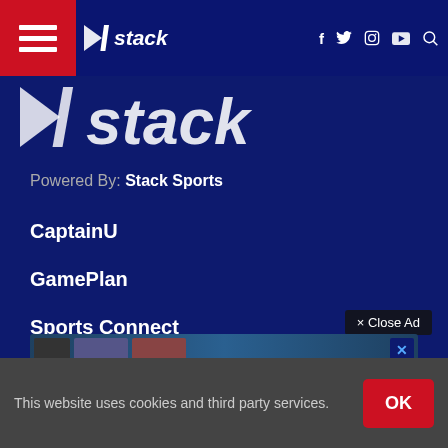stack — navigation bar with hamburger menu, logo, social icons (f, Twitter, Instagram, YouTube), search
[Figure (logo): Stack media logo — large white stylized text 'stack' with arrow emblem on dark navy background]
Powered By: Stack Sports
CaptainU
GamePlan
Sports Connect
SUBSCRIBE
Em[ail input placeholder]
× Close Ad
This website uses cookies and third party services.  OK